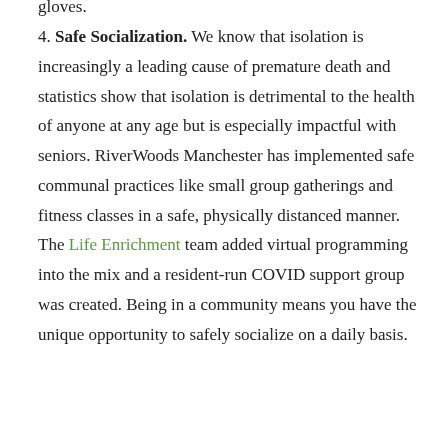gloves.
4. Safe Socialization. We know that isolation is increasingly a leading cause of premature death and statistics show that isolation is detrimental to the health of anyone at any age but is especially impactful with seniors. RiverWoods Manchester has implemented safe communal practices like small group gatherings and fitness classes in a safe, physically distanced manner. The Life Enrichment team added virtual programming into the mix and a resident-run COVID support group was created. Being in a community means you have the unique opportunity to safely socialize on a daily basis.